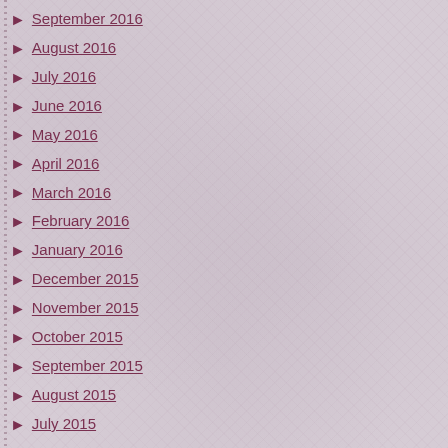September 2016
August 2016
July 2016
June 2016
May 2016
April 2016
March 2016
February 2016
January 2016
December 2015
November 2015
October 2015
September 2015
August 2015
July 2015
June 2015
May 2015
April 2015
March 2015
February 2015
January 2015